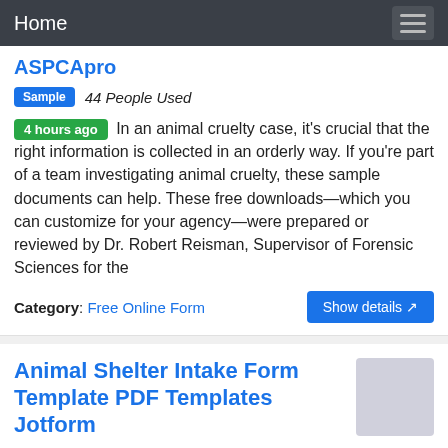Home
ASPCApro
Sample  44 People Used
4 hours ago  In an animal cruelty case, it's crucial that the right information is collected in an orderly way. If you're part of a team investigating animal cruelty, these sample documents can help. These free downloads—which you can customize for your agency—were prepared or reviewed by Dr. Robert Reisman, Supervisor of Forensic Sciences for the
Category: Free Online Form
Animal Shelter Intake Form Template PDF Templates Jotform
Animal  59 People Used